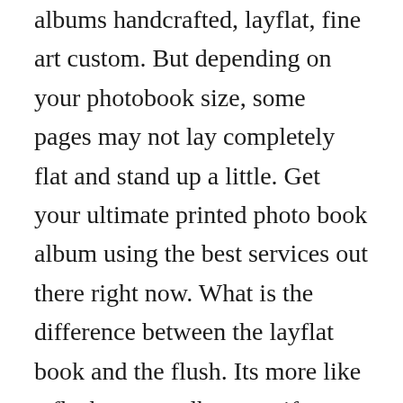albums handcrafted, layflat, fine art custom. But depending on your photobook size, some pages may not lay completely flat and stand up a little. Get your ultimate printed photo book album using the best services out there right now. What is the difference between the layflat book and the flush. Its more like a flush mount album, so if you want something sturdy and.
Glossy, matte, lustre all about paper types for your photo. The layflat photo album is inspired by our favorite heirloom albums